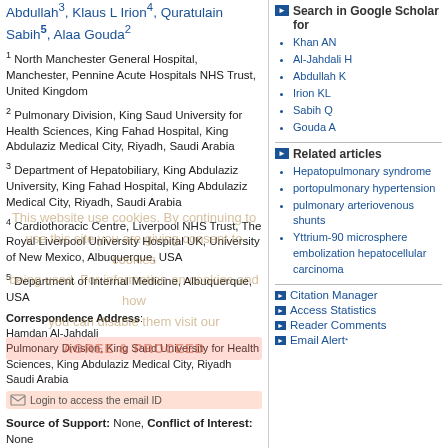Abdullah3, Klaus L Irion4, Quratulain Sabih5, Alaa Gouda2
1 North Manchester General Hospital, Manchester, Pennine Acute Hospitals NHS Trust, United Kingdom
2 Pulmonary Division, King Saud University for Health Sciences, King Fahad Hospital, King Abdulaziz Medical City, Riyadh, Saudi Arabia
3 Department of Hepatobiliary, King Abdulaziz University, King Fahad Hospital, King Abdulaziz Medical City, Riyadh, Saudi Arabia
4 Cardiothoracic Centre, Liverpool NHS Trust, The Royal Liverpool University Hospital UK, University of New Mexico, Albuquerque, USA
5 Department of Internal Medicine, Albuquerque, USA
Correspondence Address: Hamdan Al-Jahdali Pulmonary Division, King Saud University for Health Sciences, King Abdulaziz Medical City, Riyadh Saudi Arabia
Login to access the email ID
Source of Support: None, Conflict of Interest: None
Search in Google Scholar for
Khan AN
Al-Jahdali H
Abdullah K
Irion KL
Sabih Q
Gouda A
Related articles
Hepatopulmonary syndrome
portopulmonary hypertension
pulmonary arteriovenous shunts
Yttrium-90 microsphere embolization hepatocellular carcinoma
Citation Manager
Access Statistics
Reader Comments
Email Alert *